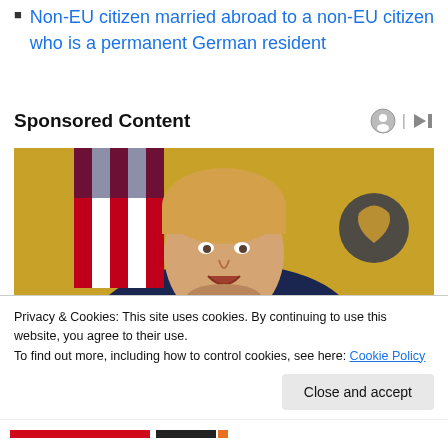Non-EU citizen married abroad to a non-EU citizen who is a permanent German resident
Sponsored Content
[Figure (photo): Photo of a person speaking, seated in front of an American flag and a decorative background, in a formal indoor setting.]
Privacy & Cookies: This site uses cookies. By continuing to use this website, you agree to their use.
To find out more, including how to control cookies, see here: Cookie Policy